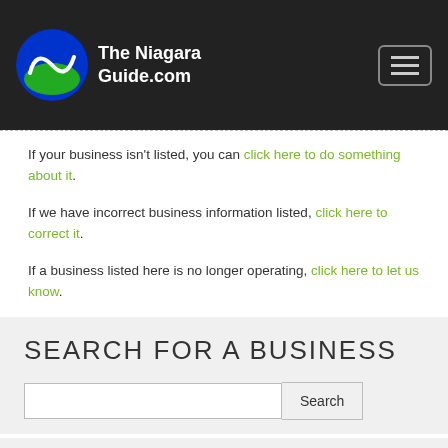The Niagara Guide.com
If your business isn't listed, you can click here to do something about it.
If we have incorrect business information listed, click here to correct it.
If a business listed here is no longer operating, click here to let us know.
SEARCH FOR A BUSINESS
SEE ALL CATEGORIES